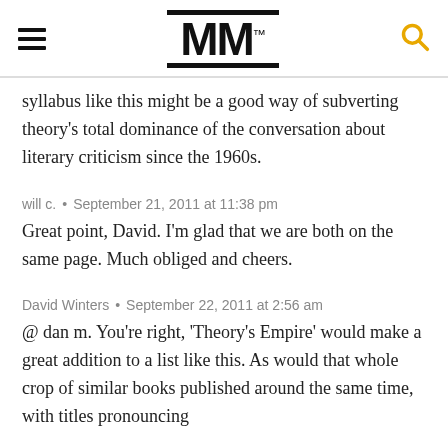MM™
syllabus like this might be a good way of subverting theory's total dominance of the conversation about literary criticism since the 1960s.
will c.  •  September 21, 2011 at 11:38 pm
Great point, David. I'm glad that we are both on the same page. Much obliged and cheers.
David Winters  •  September 22, 2011 at 2:56 am
@ dan m. You're right, 'Theory's Empire' would make a great addition to a list like this. As would that whole crop of similar books published around the same time, with titles pronouncing